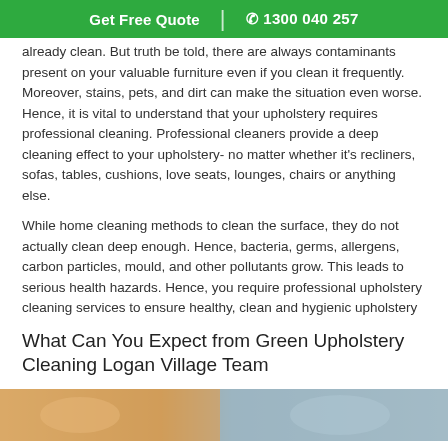Get Free Quote  |  ☎ 1300 040 257
already clean. But truth be told, there are always contaminants present on your valuable furniture even if you clean it frequently. Moreover, stains, pets, and dirt can make the situation even worse. Hence, it is vital to understand that your upholstery requires professional cleaning. Professional cleaners provide a deep cleaning effect to your upholstery- no matter whether it's recliners, sofas, tables, cushions, love seats, lounges, chairs or anything else.
While home cleaning methods to clean the surface, they do not actually clean deep enough. Hence, bacteria, germs, allergens, carbon particles, mould, and other pollutants grow. This leads to serious health hazards. Hence, you require professional upholstery cleaning services to ensure healthy, clean and hygienic upholstery
What Can You Expect from Green Upholstery Cleaning Logan Village Team
[Figure (photo): Photo strip at bottom of page showing upholstery cleaning in progress]